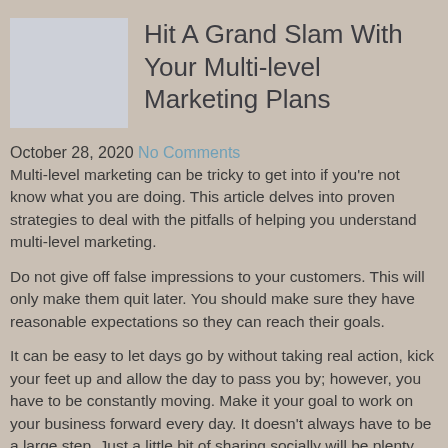[Figure (illustration): Light gray placeholder image rectangle]
Hit A Grand Slam With Your Multi-level Marketing Plans
October 28, 2020 No Comments
Multi-level marketing can be tricky to get into if you're not know what you are doing. This article delves into proven strategies to deal with the pitfalls of helping you understand multi-level marketing.
Do not give off false impressions to your customers. This will only make them quit later. You should make sure they have reasonable expectations so they can reach their goals.
It can be easy to let days go by without taking real action, kick your feet up and allow the day to pass you by; however, you have to be constantly moving. Make it your goal to work on your business forward every day. It doesn't always have to be a large step. Just a little bit of sharing socially will be plenty.
Be careful that you don't overwhelm the people you know with